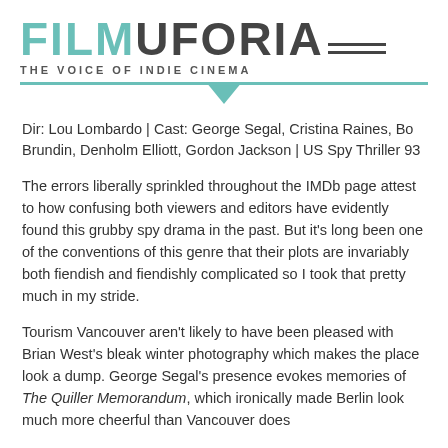FILMUFORIA — THE VOICE OF INDIE CINEMA
Dir: Lou Lombardo | Cast: George Segal, Cristina Raines, Bo Brundin, Denholm Elliott, Gordon Jackson | US Spy Thriller 93
The errors liberally sprinkled throughout the IMDb page attest to how confusing both viewers and editors have evidently found this grubby spy drama in the past. But it's long been one of the conventions of this genre that their plots are invariably both fiendish and fiendishly complicated so I took that pretty much in my stride.
Tourism Vancouver aren't likely to have been pleased with Brian West's bleak winter photography which makes the place look a dump. George Segal's presence evokes memories of The Quiller Memorandum, which ironically made Berlin look much more cheerful than Vancouver does